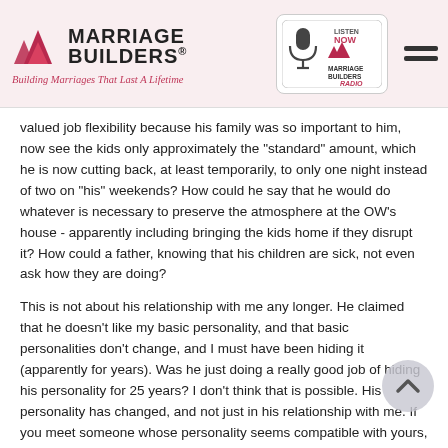[Figure (logo): Marriage Builders logo with red triangle arrows and tagline 'Building Marriages That Last A Lifetime']
[Figure (logo): Marriage Builders Radio badge with microphone icon and 'Listen Now' text]
valued job flexibility because his family was so important to him, now see the kids only approximately the "standard" amount, which he is now cutting back, at least temporarily, to only one night instead of two on "his" weekends? How could he say that he would do whatever is necessary to preserve the atmosphere at the OW's house - apparently including bringing the kids home if they disrupt it? How could a father, knowing that his children are sick, not even ask how they are doing?
This is not about his relationship with me any longer. He claimed that he doesn't like my basic personality, and that basic personalities don't change, and I must have been hiding it (apparently for years). Was he just doing a really good job of hiding his personality for 25 years? I don't think that is possible. His personality has changed, and not just in his relationship with me. If you meet someone whose personality seems compatible with yours, there is no way of knowing if it will change completely, virtually overnight-5, 10, 25 years later.